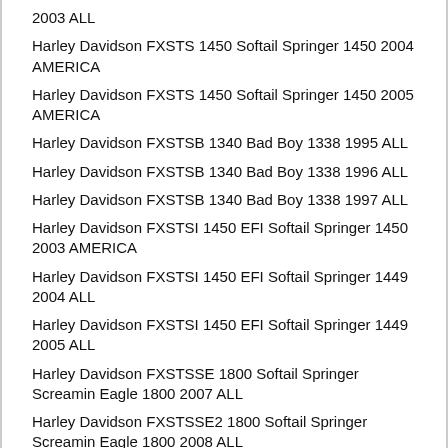2003 ALL
Harley Davidson FXSTS 1450 Softail Springer 1450 2004 AMERICA
Harley Davidson FXSTS 1450 Softail Springer 1450 2005 AMERICA
Harley Davidson FXSTSB 1340 Bad Boy 1338 1995 ALL
Harley Davidson FXSTSB 1340 Bad Boy 1338 1996 ALL
Harley Davidson FXSTSB 1340 Bad Boy 1338 1997 ALL
Harley Davidson FXSTSI 1450 EFI Softail Springer 1450 2003 AMERICA
Harley Davidson FXSTSI 1450 EFI Softail Springer 1449 2004 ALL
Harley Davidson FXSTSI 1450 EFI Softail Springer 1449 2005 ALL
Harley Davidson FXSTSSE 1800 Softail Springer Screamin Eagle 1800 2007 ALL
Harley Davidson FXSTSSE2 1800 Softail Springer Screamin Eagle 1800 2008 ALL
Harley Davidson FXSTSSE3 1800 Softail Springer CVO 1800 2009 ALL
Harley Davidson XL 1200 X Forty-Eight 1202 2010 ALL